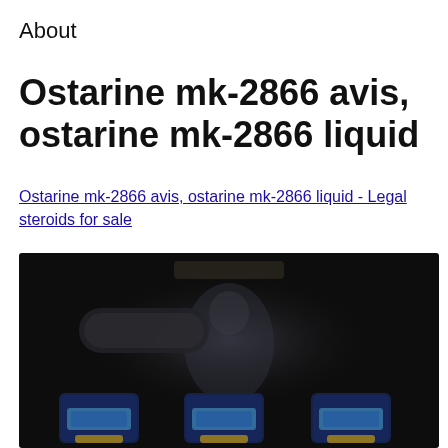About
Ostarine mk-2866 avis, ostarine mk-2866 liquid
Ostarine mk-2866 avis, ostarine mk-2866 liquid - Legal steroids for sale
[Figure (photo): Dark background image showing blurred supplement product bottles with blue and yellow labels arranged in a row, with a faint figure silhouette in the center background.]